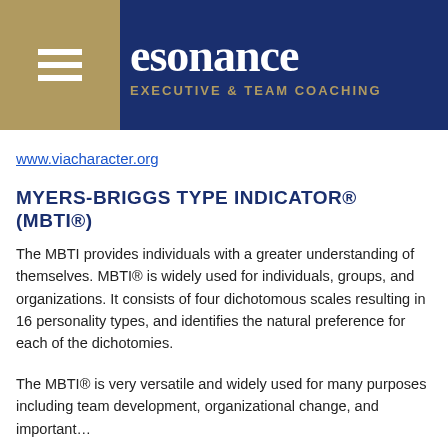[Figure (logo): Resonance Executive & Team Coaching logo with navy blue background, gold left panel with hamburger menu icon, and white serif brand name text]
www.viacharacter.org
MYERS-BRIGGS TYPE INDICATOR® (MBTI®)
The MBTI provides individuals with a greater understanding of themselves. MBTI® is widely used for individuals, groups, and organizations. It consists of four dichotomous scales resulting in 16 personality types, and identifies the natural preference for each of the dichotomies.
The MBTI® is very versatile and widely used for many purposes including team development, organizational change, and improving communication.